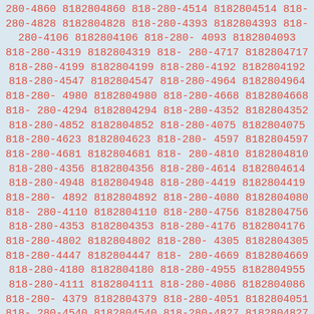280-4860 8182804860 818-280-4514 8182804514 818-280-4828 8182804828 818-280-4393 8182804393 818-280-4106 8182804106 818-280-4093 8182804093 818-280-4319 8182804319 818-280-4717 8182804717 818-280-4199 8182804199 818-280-4192 8182804192 818-280-4547 8182804547 818-280-4964 8182804964 818-280-4980 8182804980 818-280-4668 8182804668 818-280-4294 8182804294 818-280-4352 8182804352 818-280-4852 8182804852 818-280-4075 8182804075 818-280-4623 8182804623 818-280-4597 8182804597 818-280-4681 8182804681 818-280-4810 8182804810 818-280-4356 8182804356 818-280-4614 8182804614 818-280-4948 8182804948 818-280-4419 8182804419 818-280-4892 8182804892 818-280-4080 8182804080 818-280-4110 8182804110 818-280-4756 8182804756 818-280-4353 8182804353 818-280-4176 8182804176 818-280-4802 8182804802 818-280-4305 8182804305 818-280-4447 8182804447 818-280-4669 8182804669 818-280-4180 8182804180 818-280-4955 8182804955 818-280-4111 8182804111 818-280-4086 8182804086 818-280-4379 8182804379 818-280-4051 8182804051 818-280-4540 8182804540 818-280-4827 8182804827